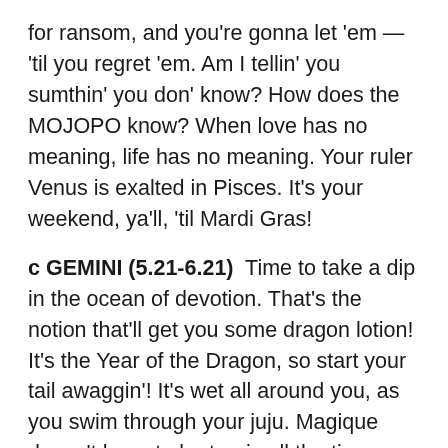for ransom, and you're gonna let 'em — 'til you regret 'em. Am I tellin' you sumthin' you don' know? How does the MOJOPO know? When love has no meaning, life has no meaning. Your ruler Venus is exalted in Pisces. It's your weekend, ya'll, 'til Mardi Gras!
c GEMINI (5.21-6.21)  Time to take a dip in the ocean of devotion. That's the notion that'll get you some dragon lotion! It's the Year of the Dragon, so start your tail awaggin'! It's wet all around you, as you swim through your juju. Magique doesn't have to be tragic all the time... Fifty/fifty's nifty. You've got 'til March, when the/an unexpected spring fire takes you higher.